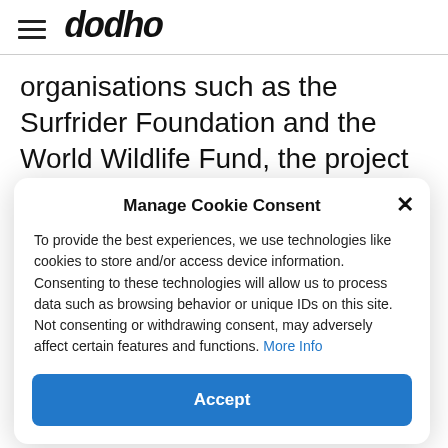dodho
organisations such as the Surfrider Foundation and the World Wildlife Fund, the project aims to present these everyday issues in a fresh and engaging way. Using carefully
Manage Cookie Consent
To provide the best experiences, we use technologies like cookies to store and/or access device information. Consenting to these technologies will allow us to process data such as browsing behavior or unique IDs on this site. Not consenting or withdrawing consent, may adversely affect certain features and functions. More Info
Accept